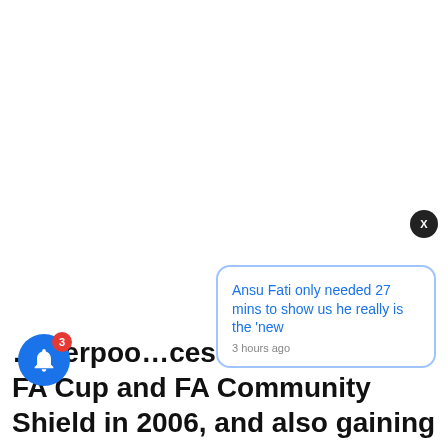[Figure (screenshot): White blank area taking up upper portion of the page, representing a web page or article with a notification popup overlay]
Ansu Fati only needed 27 mins to show us he really is the 'new
3 hours ago
...iverpoo...cess, winning the FA Cup and FA Community Shield in 2006, and also gaining